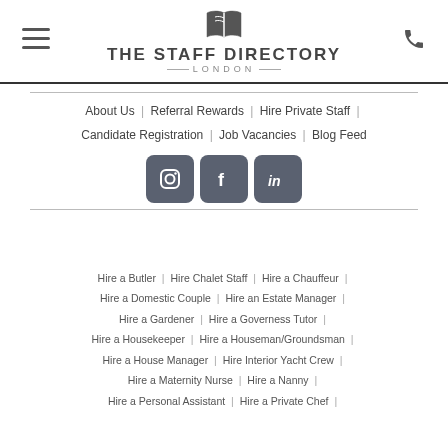THE STAFF DIRECTORY LONDON
About Us | Referral Rewards | Hire Private Staff | Candidate Registration | Job Vacancies | Blog Feed
[Figure (logo): Instagram, Facebook, and LinkedIn social media icons in dark grey square buttons]
Hire a Butler | Hire Chalet Staff | Hire a Chauffeur | Hire a Domestic Couple | Hire an Estate Manager | Hire a Gardener | Hire a Governess Tutor | Hire a Housekeeper | Hire a Houseman/Groundsman | Hire a House Manager | Hire Interior Yacht Crew | Hire a Maternity Nurse | Hire a Nanny | Hire a Personal Assistant | Hire a Private Chef